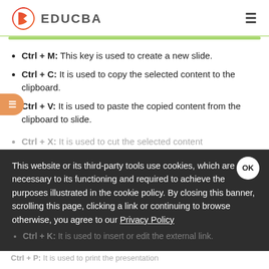EDUCBA
Ctrl + M: This key is used to create a new slide.
Ctrl + C: It is used to copy the selected content to the clipboard.
Ctrl + V: It is used to paste the copied content from the clipboard to slide.
Ctrl + X: It is used to cut the selected content
This website or its third-party tools use cookies, which are necessary to its functioning and required to achieve the purposes illustrated in the cookie policy. By closing this banner, scrolling this page, clicking a link or continuing to browse otherwise, you agree to our Privacy Policy
Ctrl + K: It is used to insert or edit the external link.
Ctrl + P: It is used to print the presentation